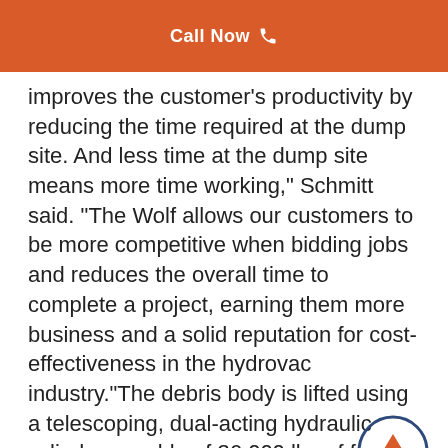Call Now
improves the customer’s productivity by reducing the time required at the dump site. And less time at the dump site means more time working,” Schmitt said. “The Wolf allows our customers to be more competitive when bidding jobs and reduces the overall time to complete a project, earning them more business and a solid reputation for cost-effectiveness in the hydrovac industry.”The debris body is lifted using a telescoping, dual-acting hydraulic cylinder capable of 36,000 lbs of force. When fully extended,